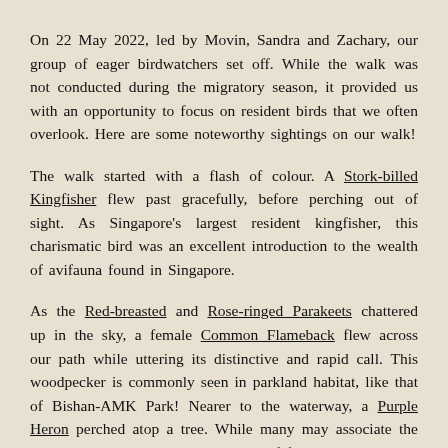On 22 May 2022, led by Movin, Sandra and Zachary, our group of eager birdwatchers set off. While the walk was not conducted during the migratory season, it provided us with an opportunity to focus on resident birds that we often overlook. Here are some noteworthy sightings on our walk!
The walk started with a flash of colour. A Stork-billed Kingfisher flew past gracefully, before perching out of sight. As Singapore's largest resident kingfisher, this charismatic bird was an excellent introduction to the wealth of avifauna found in Singapore.
As the Red-breasted and Rose-ringed Parakeets chattered up in the sky, a female Common Flameback flew across our path while uttering its distinctive and rapid call. This woodpecker is commonly seen in parkland habitat, like that of Bishan-AMK Park! Nearer to the waterway, a Purple Heron perched atop a tree. While many may associate the Purple Heron with the consumption of fish, herons are able to swallow small mammals – up to the size of a rabbit – whole.
The ever-present Black-naped Orioles and Common Ioras serenaded us with their sweet strains of vocalisation. Not...